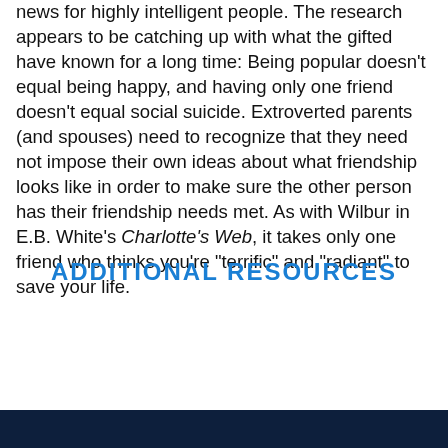news for highly intelligent people. The research appears to be catching up with what the gifted have known for a long time: Being popular doesn't equal being happy, and having only one friend doesn't equal social suicide. Extroverted parents (and spouses) need to recognize that they need not impose their own ideas about what friendship looks like in order to make sure the other person has their friendship needs met. As with Wilbur in E.B. White's Charlotte's Web, it takes only one friend who thinks you're "terrific" and "radiant" to save your life.
ADDITIONAL RESOURCES